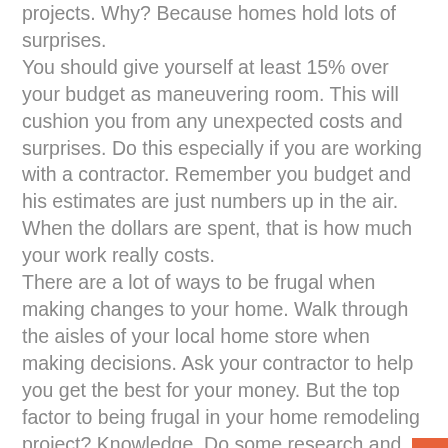projects. Why? Because homes hold lots of surprises. You should give yourself at least 15% over your budget as maneuvering room. This will cushion you from any unexpected costs and surprises. Do this especially if you are working with a contractor. Remember you budget and his estimates are just numbers up in the air. When the dollars are spent, that is how much your work really costs. There are a lot of ways to be frugal when making changes to your home. Walk through the aisles of your local home store when making decisions. Ask your contractor to help you get the best for your money. But the top factor to being frugal in your home remodeling project? Knowledge. Do some research and investigation into what you are going